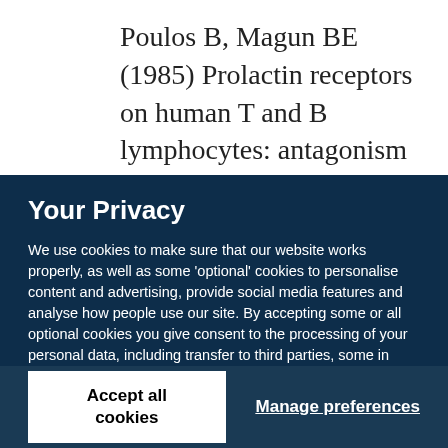Poulos B, Magun BE (1985) Prolactin receptors on human T and B lymphocytes: antagonism of prolactin binding by cyclosporine. J Immunol
Your Privacy
We use cookies to make sure that our website works properly, as well as some 'optional' cookies to personalise content and advertising, provide social media features and analyse how people use our site. By accepting some or all optional cookies you give consent to the processing of your personal data, including transfer to third parties, some in countries outside of the European Economic Area that do not offer the same data protection standards as the country where you live. You can decide which optional cookies to accept by clicking on 'Manage Settings', where you can also find more information about how your personal data is processed. Further information can be found in our privacy policy.
Accept all cookies
Manage preferences